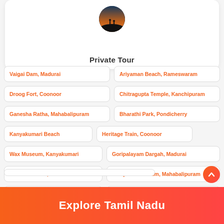[Figure (photo): Circular avatar showing silhouette of people at sunset/dusk]
Private Tour
Vaigai Dam, Madurai
Ariyaman Beach, Rameswaram
Droog Fort, Coonoor
Chitragupta Temple, Kanchipuram
Ganesha Ratha, Mahabalapuram
Bharathi Park, Pondicherry
Kanyakumari Beach
Heritage Train, Coonoor
Wax Museum, Kanyakumari
Goripalayam Dargah, Madurai
Palamathi Hills, Vellore
Sculpture Museum, Mahabalipuram
Alagar Koyil, Madurai
Kanchi Kudil, Kanchipuram
Sripuram, Vellore
Arjuna's Penance, Mahabalipuram
Explore Tamil Nadu